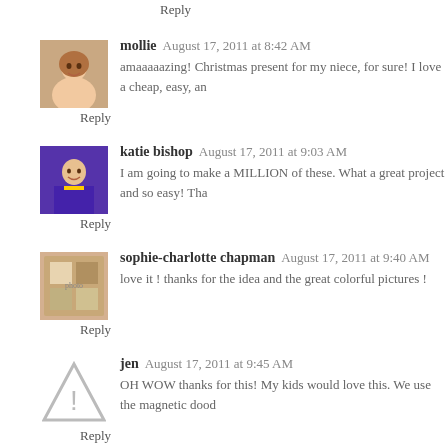Reply
[Figure (photo): Avatar photo of mollie, a woman smiling]
mollie  August 17, 2011 at 8:42 AM
amaaaaazing! Christmas present for my niece, for sure! I love a cheap, easy, an
Reply
[Figure (photo): Avatar photo of katie bishop in purple robe]
katie bishop  August 17, 2011 at 9:03 AM
I am going to make a MILLION of these. What a great project and so easy! Tha
Reply
[Figure (photo): Avatar photo of sophie-charlotte chapman]
sophie-charlotte chapman  August 17, 2011 at 9:40 AM
love it ! thanks for the idea and the great colorful pictures !
Reply
[Figure (illustration): Warning/placeholder triangle icon with exclamation mark for jen's avatar]
jen  August 17, 2011 at 9:45 AM
OH WOW thanks for this! My kids would love this. We use the magnetic dood
Reply